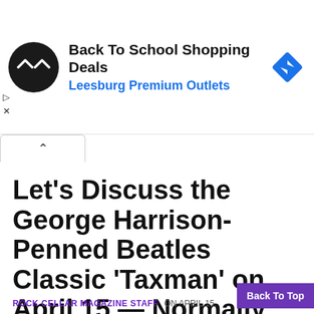[Figure (screenshot): Advertisement banner for Back To School Shopping Deals at Leesburg Premium Outlets, showing a circular black logo with double-arrow icon and a blue diamond navigation icon on the right.]
Let’s Discuss the George Harrison-Penned Beatles Classic ‘Taxman’ on April 15 — Normally Tax Day in the U.S. (Delayed Until 7/15 Due to COVID-19)
ROCK CELLAR MAGAZINE STAFF  ON APRIL 15,